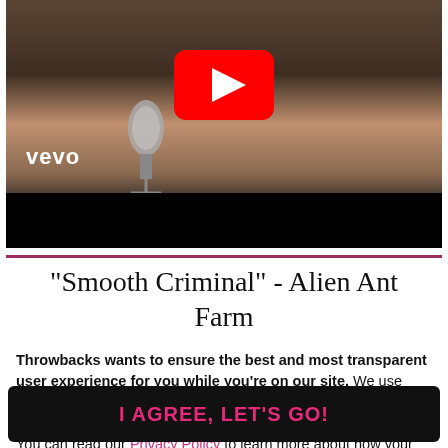[Figure (screenshot): YouTube video thumbnail showing a music video still of a singer close to a microphone with 'vevo' watermark, and a YouTube play button overlay. The video is 'Smooth Criminal' by Alien Ant Farm.]
"Smooth Criminal" - Alien Ant Farm
Throwbacks wants to ensure the best and most transparent user experience for you while you're on our site. We use technologies like cookies to enhance that experience. By continuing, you are agreeing to the use of these technologies. You can read our Privacy Policy to learn more about how your info is used.
I AGREE, LET'S GO!